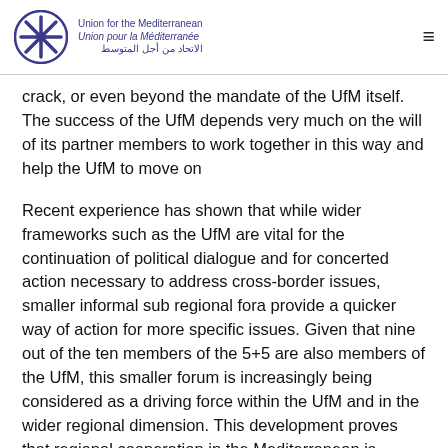Union for the Mediterranean / Union pour la Méditerranée / الاتحاد من أجل المتوسط
crack, or even beyond the mandate of the UfM itself. The success of the UfM depends very much on the will of its partner members to work together in this way and help the UfM to move on
Recent experience has shown that while wider frameworks such as the UfM are vital for the continuation of political dialogue and for concerted action necessary to address cross-border issues, smaller informal sub regional fora provide a quicker way of action for more specific issues. Given that nine out of the ten members of the 5+5 are also members of the UfM, this smaller forum is increasingly being considered as a driving force within the UfM and in the wider regional dimension. This development proves that regional cooperation in the Mediterranean is possible and attainable if there is enough political will. A tangible example of sub regional cooperation is the Trans Maghreb Motorway project